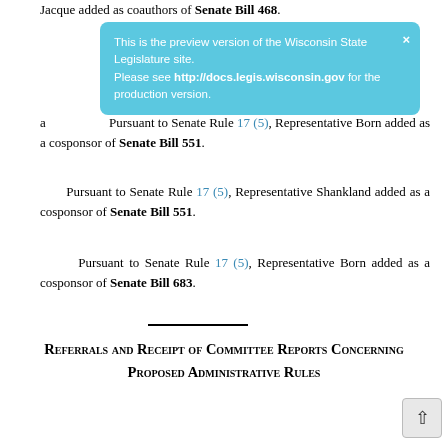Jacque added as coauthors of Senate Bill 468.
[Figure (screenshot): Preview banner overlay: 'This is the preview version of the Wisconsin State Legislature site. Please see http://docs.legis.wisconsin.gov for the production version.']
Pursuant to Senate Rule 17 (5), Representative Born added as a cosponsor of Senate Bill 551.
Pursuant to Senate Rule 17 (5), Representative Shankland added as a cosponsor of Senate Bill 551.
Pursuant to Senate Rule 17 (5), Representative Born added as a cosponsor of Senate Bill 683.
Referrals and Receipt of Committee Reports Concerning Proposed Administrative Rules